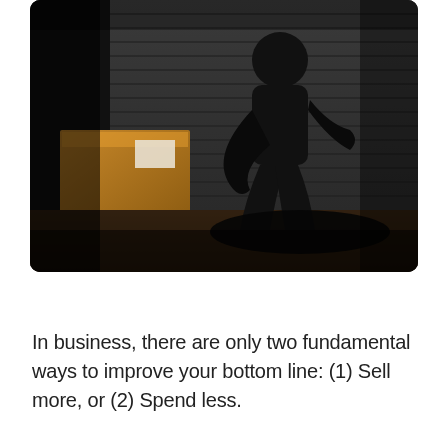[Figure (photo): Silhouette of a person crouching near cardboard boxes in front of a corrugated metal shutter door, shot in dark, moody tones with dramatic shadows on a brick sidewalk.]
In business, there are only two fundamental ways to improve your bottom line:  (1) Sell more, or (2) Spend less.